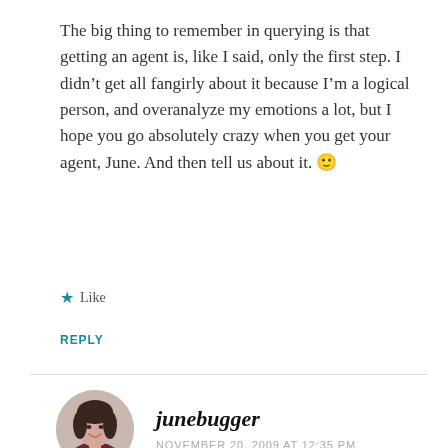The big thing to remember in querying is that getting an agent is, like I said, only the first step. I didn't get all fangirly about it because I'm a logical person, and overanalyze my emotions a lot, but I hope you go absolutely crazy when you get your agent, June. And then tell us about it. 🙂
★ Like
REPLY
[Figure (photo): Circular avatar photo of a woman with dark hair, smiling, wearing a dark top]
junebugger
NOVEMBER 20, 2009 AT 12:35 PM